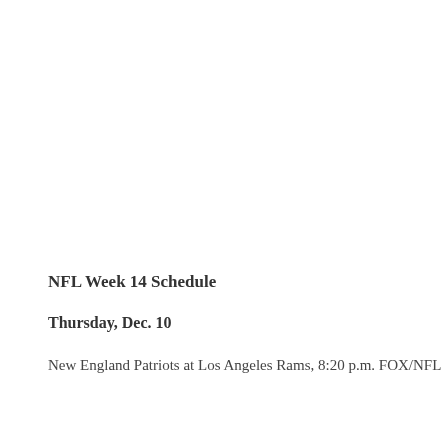NFL Week 14 Schedule
Thursday, Dec. 10
New England Patriots at Los Angeles Rams, 8:20 p.m. FOX/NFL